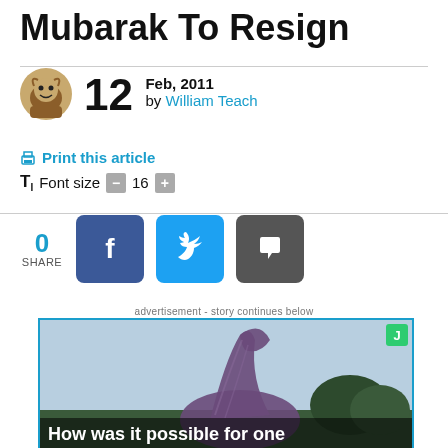Mubarak To Resign
12 Feb, 2011 by William Teach
Print this article
Font size - 16 +
0
SHARE
[Figure (screenshot): Social share buttons: Facebook (blue), Twitter (light blue), Comment (dark gray)]
advertisement - story continues below
[Figure (photo): Advertisement image showing a dinosaur statue with text 'How was it possible for one...']